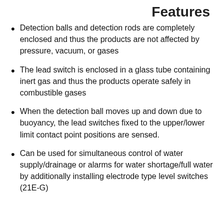Features
Detection balls and detection rods are completely enclosed and thus the products are not affected by pressure, vacuum, or gases
The lead switch is enclosed in a glass tube containing inert gas and thus the products operate safely in combustible gases
When the detection ball moves up and down due to buoyancy, the lead switches fixed to the upper/lower limit contact point positions are sensed.
Can be used for simultaneous control of water supply/drainage or alarms for water shortage/full water by additionally installing electrode type level switches (21E-G)